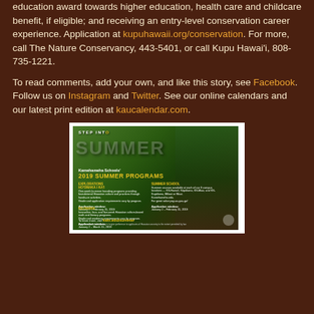education award towards higher education, health care and childcare benefit, if eligible; and receiving an entry-level conservation career experience. Application at kupuhawaii.org/conservation. For more, call The Nature Conservancy, 443-5401, or call Kupu Hawai'i, 808-735-1221.
To read comments, add your own, and like this story, see Facebook. Follow us on Instagram and Twitter. See our online calendars and our latest print edition at kaucalendar.com.
[Figure (photo): Advertisement for Kamehameha Schools 2019 Summer Programs. Shows 'Step Into Summer' text with a girl sitting by a stream. Lists Explorations Ho'omaka i Ka'i, Summer School, and Kilohana programs with application windows. Website: kalo.edu/summer]